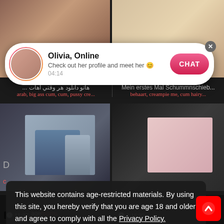[Figure (screenshot): Adult video website screenshot showing thumbnail grid with chat notification popup and age/cookie consent overlay]
Olivia, Online
Check out her profile and meet her 😊
04:14
CHAT
arab, big ass cum, cum, pussy cre...
behaart, creampie me, cum hairy...
This website contains age-restricted materials. By using this site, you hereby verify that you are age 18 and older and agree to comply with all the Privacy Policy.
We use cookies to provide you the best possible experience on our website and to monitor website traffic. Cookies Policy.
🕐 11:37
agerooms
🕐 1:15:32